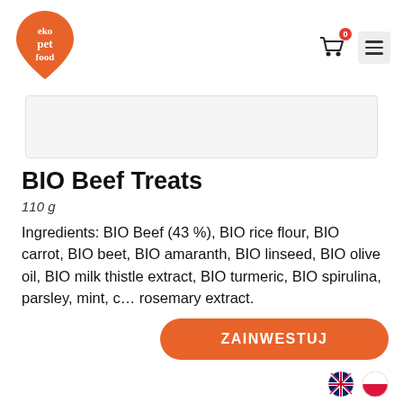[Figure (logo): Eko Pet Food logo — orange teardrop/leaf shape with white text 'eko pet food' in casual handwritten style]
[Figure (infographic): Shopping cart icon with red badge showing '0', and hamburger menu icon on grey square background]
[Figure (photo): Product image placeholder — light grey rectangle]
BIO Beef Treats
110 g
Ingredients: BIO Beef (43 %), BIO rice flour, BIO carrot, BIO beet, BIO amaranth, BIO linseed, BIO olive oil, BIO milk thistle extract, BIO turmeric, BIO spirulina, parsley, mint, c… rosemary extract.
[Figure (infographic): Large orange rounded-rectangle button with white bold text 'ZAINWESTUJ']
[Figure (infographic): UK flag (Union Jack) and Polish flag circular icons at bottom right]